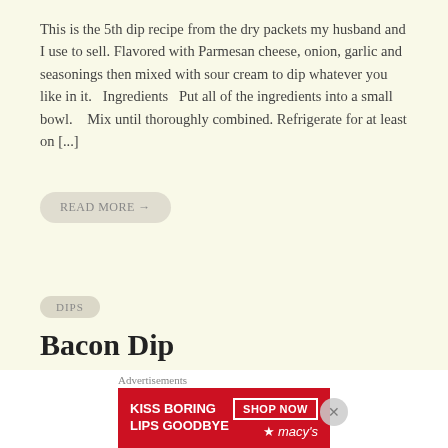This is the 5th dip recipe from the dry packets my husband and I use to sell. Flavored with Parmesan cheese, onion, garlic and seasonings then mixed with sour cream to dip whatever you like in it.  Ingredients  Put all of the ingredients into a small bowl.   Mix until thoroughly combined. Refrigerate for at least on [...]
READ MORE →
DIPS
Bacon Dip
[Figure (photo): Photo of a white plate with a creamy dip topped with colorful garnishes, on a dark brown background]
Advertisements
[Figure (infographic): Macy's advertisement banner with red background reading 'KISS BORING LIPS GOODBYE' with 'SHOP NOW' button and Macy's star logo]